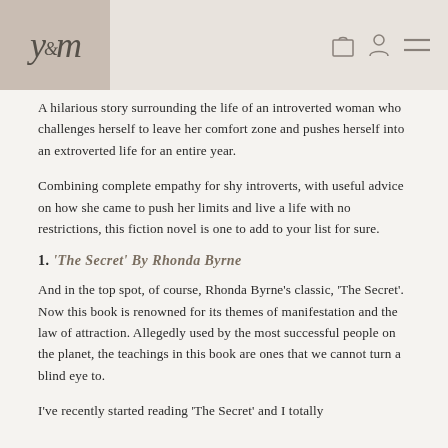ym
A hilarious story surrounding the life of an introverted woman who challenges herself to leave her comfort zone and pushes herself into an extroverted life for an entire year.
Combining complete empathy for shy introverts, with useful advice on how she came to push her limits and live a life with no restrictions, this fiction novel is one to add to your list for sure.
1. 'The Secret' By Rhonda Byrne
And in the top spot, of course, Rhonda Byrne's classic, 'The Secret'. Now this book is renowned for its themes of manifestation and the law of attraction. Allegedly used by the most successful people on the planet, the teachings in this book are ones that we cannot turn a blind eye to.
I've recently started reading 'The Secret' and I totally